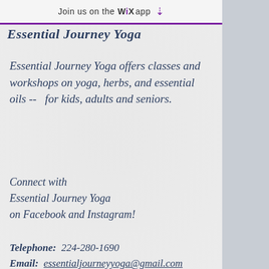Join us on the WiX app
Essential Journey Yoga
Essential Journey Yoga offers classes and workshops on yoga, herbs, and essential oils --  for kids, adults and seniors.
Connect with Essential Journey Yoga on Facebook and Instagram!
Telephone:  224-280-1690
Email:  essentialjourneyyoga@gmail.com
© 2016 by Essential Journey Yoga.
[Figure (illustration): Facebook and Instagram social media icon circles in grey]